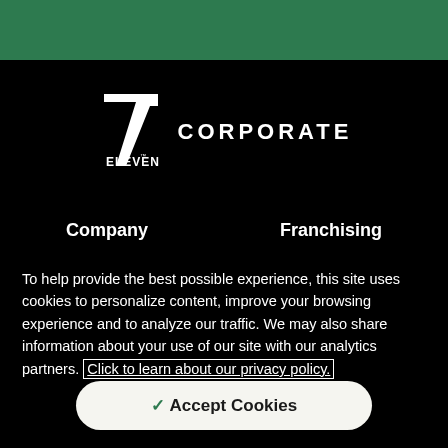[Figure (logo): 7-Eleven Corporate logo — the 7-Eleven logo (7 with ELEVEN below) followed by the word CORPORATE in wide-spaced white letters on black background]
Company
Franchising
To help provide the best possible experience, this site uses cookies to personalize content, improve your browsing experience and to analyze our traffic. We may also share information about your use of our site with our analytics partners. Click to learn about our privacy policy.
✓ Accept Cookies